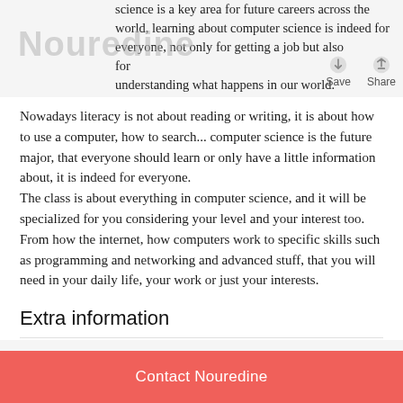Nouredine
science is a key area for future careers across the world, learning about computer science is indeed for everyone, not only for getting a job but also for understanding what happens in our world.
Nowadays literacy is not about reading or writing, it is about how to use a computer, how to search... computer science is the future major, that everyone should learn or only have a little information about, it is indeed for everyone.
The class is about everything in computer science, and it will be specialized for you considering your level and your interest too.
From how the internet, how computers work to specific skills such as programming and networking and advanced stuff, that you will need in your daily life, your work or just your interests.
Extra information
All you need is a stable connection and a laptop.
Contact Nouredine